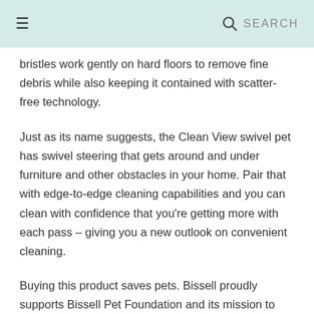≡  🔍 SEARCH
bristles work gently on hard floors to remove fine debris while also keeping it contained with scatter-free technology.
Just as its name suggests, the Clean View swivel pet has swivel steering that gets around and under furniture and other obstacles in your home. Pair that with edge-to-edge cleaning capabilities and you can clean with confidence that you're getting more with each pass – giving you a new outlook on convenient cleaning.
Buying this product saves pets. Bissell proudly supports Bissell Pet Foundation and its mission to help save homeless pets. When you buy a Bissell product, you